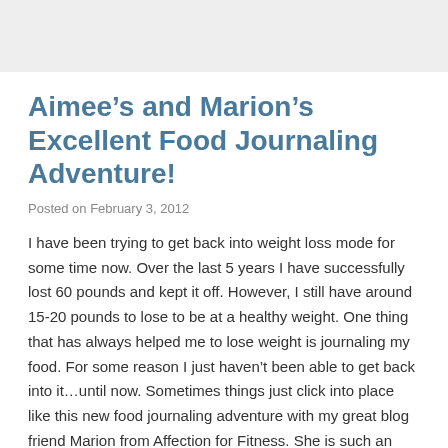Aimee’s and Marion’s Excellent Food Journaling Adventure!
Posted on February 3, 2012
I have been trying to get back into weight loss mode for some time now. Over the last 5 years I have successfully lost 60 pounds and kept it off. However, I still have around 15-20 pounds to lose to be at a healthy weight. One thing that has always helped me to lose weight is journaling my food. For some reason I just haven’t been able to get back into it…until now. Sometimes things just click into place like this new food journaling adventure with my great blog friend Marion from Affection for Fitness. She is such an inspiration to me. She is positive, motivating and genuine. Her blog posts are intelligent and thought provoking. If you haven’t read her blog I highly recommend that you visit. She goes the extra step to post about fitness too. Aft